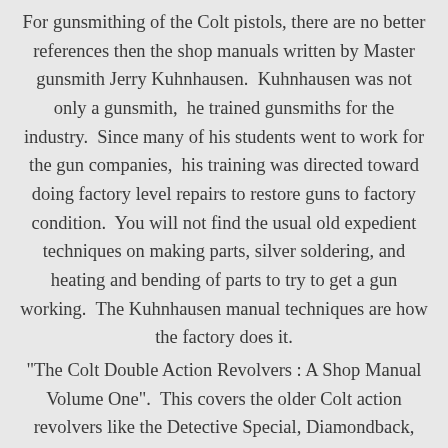For gunsmithing of the Colt pistols, there are no better references then the shop manuals written by Master gunsmith Jerry Kuhnhausen.  Kuhnhausen was not only a gunsmith,  he trained gunsmiths for the industry.  Since many of his students went to work for the gun companies,  his training was directed toward doing factory level repairs to restore guns to factory condition.  You will not find the usual old expedient techniques on making parts, silver soldering, and heating and bending of parts to try to get a gun working.  The Kuhnhausen manual techniques are how the factory does it.
"The Colt Double Action Revolvers : A Shop Manual Volume One".  This covers the older Colt action revolvers like the Detective Special, Diamondback,